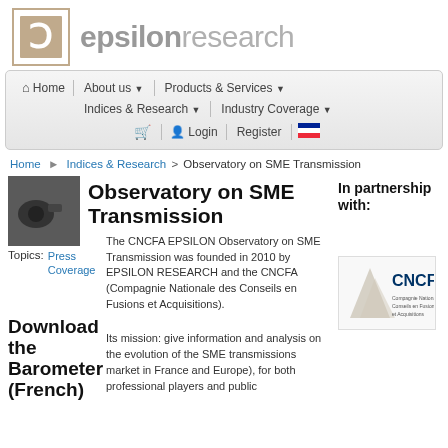[Figure (logo): Epsilon Research logo with stylized C icon and text 'epsilonresearch']
[Figure (screenshot): Navigation bar with Home, About us, Products & Services, Indices & Research, Industry Coverage, cart icon, Login, Register, French flag]
Home > Indices & Research > Observatory on SME Transmission
Observatory on SME Transmission
Topics:
Press Coverage
The CNCFA EPSILON Observatory on SME Transmission was founded in 2010 by EPSILON RESEARCH and the CNCFA (Compagnie Nationale des Conseils en Fusions et Acquisitions).
Download the Barometer (French)
Its mission: give information and analysis on the evolution of the SME transmissions market in France and Europe), for both professional players and public
In partnership with:
[Figure (logo): CNCFA logo]